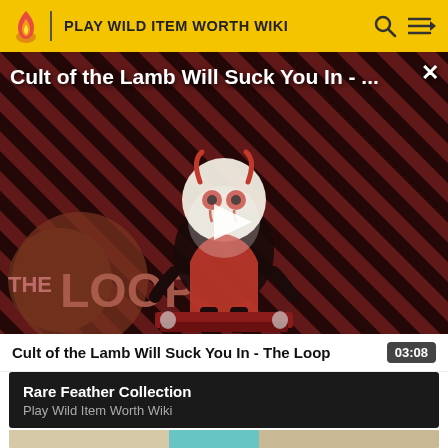PLAY WILD ITEM WORTH WIKI
[Figure (screenshot): Video thumbnail showing animated lamb character on red and black diagonal striped background with THE LOOP logo, play button overlay and title 'Cult of the Lamb Will Suck You In - ...']
Cult of the Lamb Will Suck You In - The Loop
03:08
Rare Feather Collection
Play Wild Item Worth Wiki
[Figure (photo): Partial thumbnail of next video showing blue and beige tones]